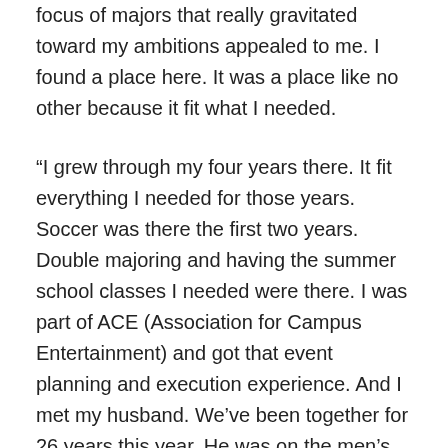focus of majors that really gravitated toward my ambitions appealed to me. I found a place here. It was a place like no other because it fit what I needed.
“I grew through my four years there. It fit everything I needed for those years. Soccer was there the first two years. Double majoring and having the summer school classes I needed were there. I was part of ACE (Association for Campus Entertainment) and got that event planning and execution experience. And I met my husband. We’ve been together for 26 years this year. He was on the men’s soccer team and I was on the women’s team.”
Today, Reynolds and her husband, Vaughn ’97, ’98M, live in Columbia, S.C., and thrive in the